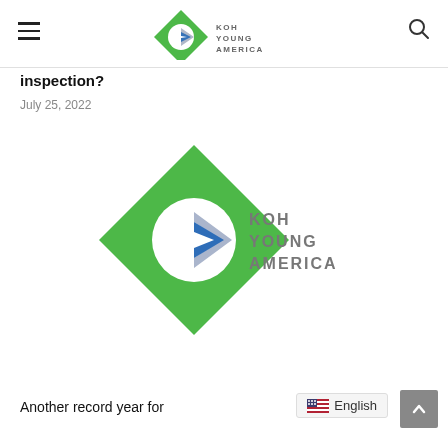Koh Young America
Inspection?
July 25, 2022
[Figure (logo): Koh Young America logo — green diamond shape with white circle and blue/silver arrow, text reads KOH YOUNG AMERICA]
Another record year for